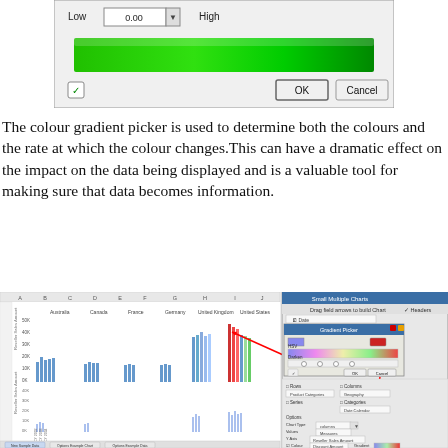[Figure (screenshot): Dialog box showing a colour gradient picker with a bright green gradient bar, OK and Cancel buttons, and a checkbox icon on the left.]
The colour gradient picker is used to determine both the colours and the rate at which the colour changes. This can have a dramatic effect on the impact on the data being displayed and is a valuable tool for making sure that data becomes information.
[Figure (screenshot): Screenshot of a spreadsheet application showing Small Multiple Charts with bar charts for Australia, Canada, France, Germany, United Kingdom, and United States, alongside a Gradient Picker dialog and chart configuration panel with options for Chart Type (columns), Values (Measures), Y Axis (Reseller Sales Amount), Colour (Discount Amount), and Gradient settings.]